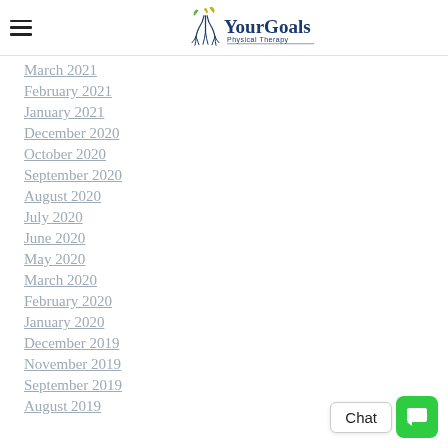Your Goals Physical Therapy
March 2021
February 2021
January 2021
December 2020
October 2020
September 2020
August 2020
July 2020
June 2020
May 2020
March 2020
February 2020
January 2020
December 2019
November 2019
September 2019
August 2019